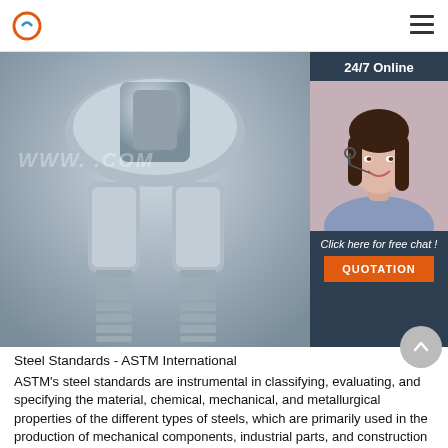[logo] [menu icon]
[Figure (photo): Close-up photo of a galvanized steel wire rope clip / U-bolt clamp showing the saddle and two threaded bolt ends from below. A watermark reads WWW.[domain].COM partially visible. In the top-right corner, a customer service chat panel with a '24/7 Online' header, a photo of a female agent wearing a headset, text 'Click here for free chat!', and an orange 'QUOTATION' button.]
Steel Standards - ASTM International
ASTM's steel standards are instrumental in classifying, evaluating, and specifying the material, chemical, mechanical, and metallurgical properties of the different types of steels, which are primarily used in the production of mechanical components, industrial parts, and construction elements, as well as other accessories related to them.